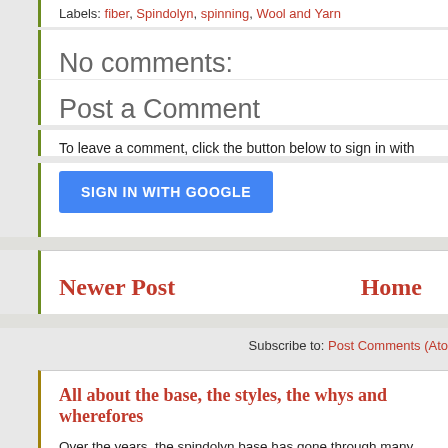Labels: fiber, Spindolyn, spinning, Wool and Yarn
No comments:
Post a Comment
To leave a comment, click the button below to sign in with
SIGN IN WITH GOOGLE
Newer Post
Home
Subscribe to: Post Comments (Ato
All about the base, the styles, the whys and wherefores
Over the years, the spindolyn base has gone through many iterations, spin in different seating situatio